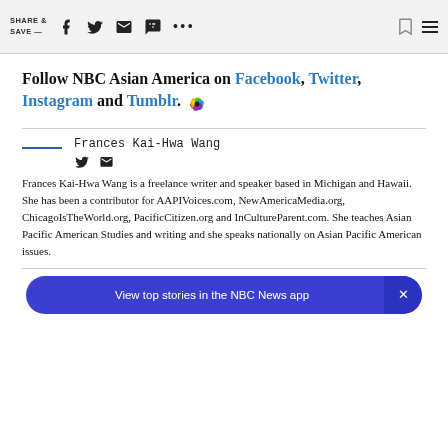SHARE & SAVE —
Follow NBC Asian America on Facebook, Twitter, Instagram and Tumblr.
Frances Kai-Hwa Wang
Frances Kai-Hwa Wang is a freelance writer and speaker based in Michigan and Hawaii. She has been a contributor for AAPIVoices.com, NewAmericaMedia.org, ChicagoIsTheWorld.org, PacificCitizen.org and InCultureParent.com. She teaches Asian Pacific American Studies and writing and she speaks nationally on Asian Pacific American issues.
View top stories in the NBC News app